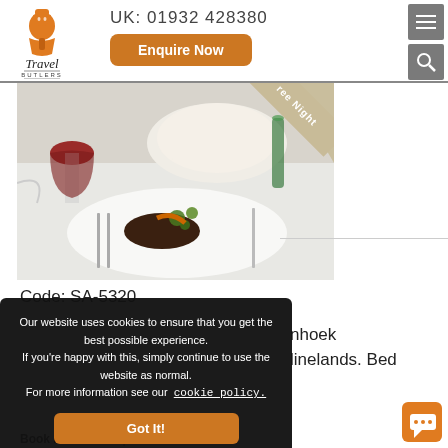[Figure (logo): Travel Butlers logo with stylized chef/butler figure in orange]
UK: 01932 428380
Enquire Now
[Figure (photo): Fine dining dish — meat with garnish and greens on white plate, wine glass and other dishes visible in background. Ribbon banner reading 'ree Night' (Free Night) partially visible in top-right corner.]
Code: SA-5320
Our website uses cookies to ensure that you get the best possible experience.
If you're happy with this, simply continue to use the website as normal.
For more information see our cookie policy.
Got It!
nhoek
linelands. Bed
Book Before:  27 April 2023.